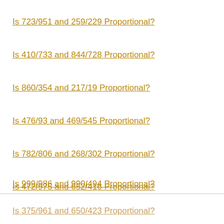Is 723/951 and 259/229 Proportional?
Is 410/733 and 844/728 Proportional?
Is 860/354 and 217/19 Proportional?
Is 476/93 and 469/545 Proportional?
Is 782/806 and 268/302 Proportional?
Is 472/975 and 652/416 Proportional?
Is 999/986 and 990/494 Proportional?
Is 375/961 and 650/423 Proportional?